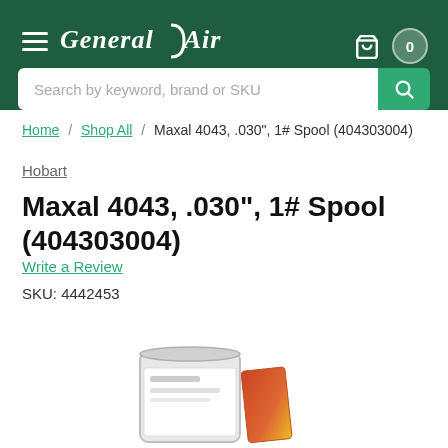General Air — navigation header with search bar
Home / Shop All / Maxal 4043, .030", 1# Spool (404303004)
Hobart
Maxal 4043, .030", 1# Spool (404303004)
Write a Review
SKU: 4442453
[Figure (photo): Product photo of Hobart Maxal 4043 welding wire 1# spool — white cylindrical spool with orange/yellow label tag]